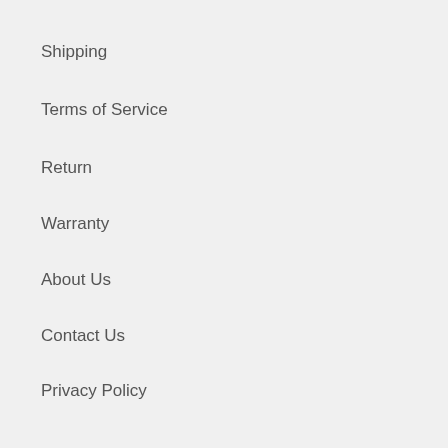Shipping
Terms of Service
Return
Warranty
About Us
Contact Us
Privacy Policy